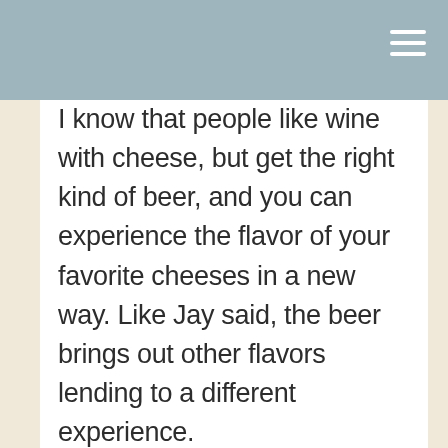I know that people like wine with cheese, but get the right kind of beer, and you can experience the flavor of your favorite cheeses in a new way. Like Jay said, the beer brings out other flavors lending to a different experience.